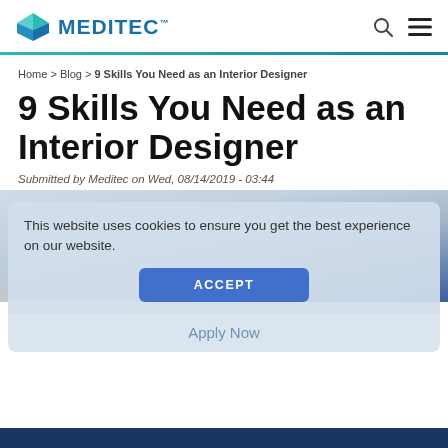[Figure (logo): Meditec logo with teal diamond shape icon and MEDITEC text in blue]
Home > Blog > 9 Skills You Need as an Interior Designer
9 Skills You Need as an Interior Designer
Submitted by Meditec on Wed, 08/14/2019 - 03:44
[Figure (photo): Photo of people in an interior design or office setting, partially visible behind cookie consent overlay]
This website uses cookies to ensure you get the best experience on our website.
ACCEPT
Apply Now